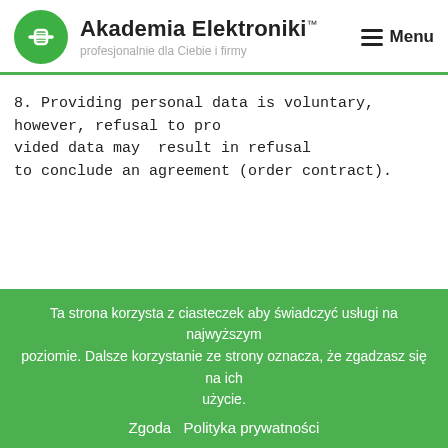Akademia Elektroniki™ profesjonalnie dla Ciebie i firmy Menu
8. Providing personal data is voluntary, however, refusal to provided data may result in refusal to conclude an agreement (order contract).
Ta strona korzysta z ciasteczek aby świadczyć usługi na najwyższym poziomie. Dalsze korzystanie ze strony oznacza, że zgadzasz się na ich użycie. Zgoda  Polityka prywatności